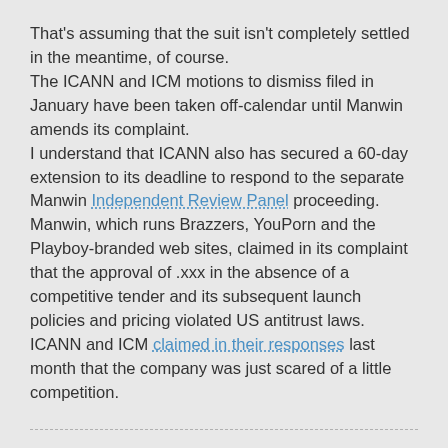That's assuming that the suit isn't completely settled in the meantime, of course.
The ICANN and ICM motions to dismiss filed in January have been taken off-calendar until Manwin amends its complaint.
I understand that ICANN also has secured a 60-day extension to its deadline to respond to the separate Manwin Independent Review Panel proceeding.
Manwin, which runs Brazzers, YouPorn and the Playboy-branded web sites, claimed in its complaint that the approval of .xxx in the absence of a competitive tender and its subsequent launch policies and pricing violated US antitrust laws.
ICANN and ICM claimed in their responses last month that the company was just scared of a little competition.